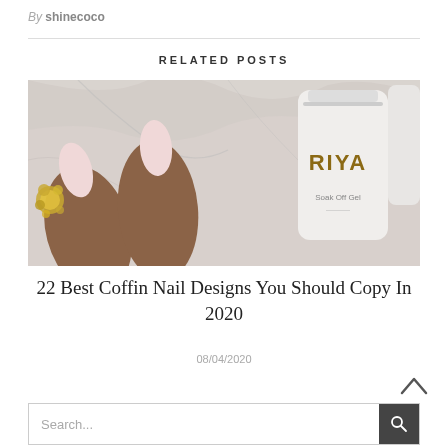By shinecoco
RELATED POSTS
[Figure (photo): Close-up photo of coffin-shaped nails in light pink on a dark-skinned hand, with gold jewelled accessories, next to a white RIYA Soak Off Gel bottle on a marble surface.]
22 Best Coffin Nail Designs You Should Copy In 2020
08/04/2020